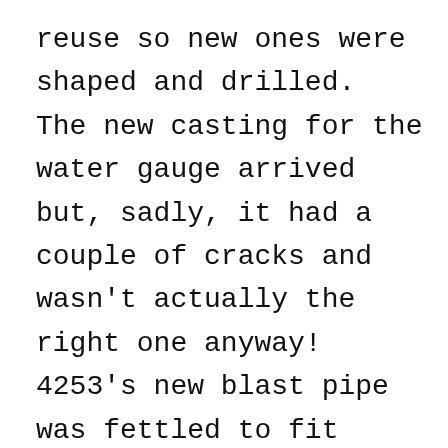reuse so new ones were shaped and drilled.  The new casting for the water gauge arrived but, sadly, it had a couple of cracks and wasn't actually the right one anyway!  4253's new blast pipe was fettled to fit comfortably over the retaining studs